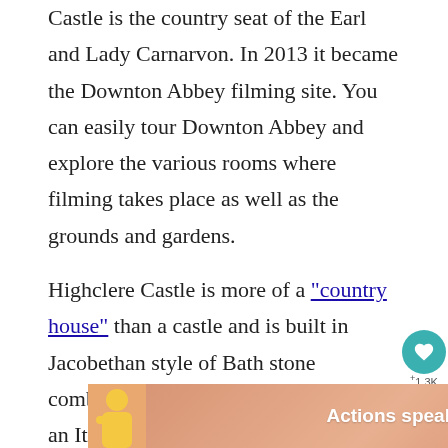Castle is the country seat of the Earl and Lady Carnarvon. In 2013 it became the Downton Abbey filming site. You can easily tour Downton Abbey and explore the various rooms where filming takes place as well as the grounds and gardens.
Highclere Castle is more of a "country house" than a castle and is built in Jacobethan style of Bath stone combined with several towers built in an Italianate style was completed in 1842, with a stunning park designed Capability Brown. Highclere Castle is just one of the filming locations used for the fabulous Dow Series and film due in September this year. Visiting D... beautiful da...
[Figure (screenshot): Floating UI overlay showing a teal heart/save button with '1.3K' count and a share button below it, plus a 'WHAT'S NEXT' card showing 'Whitby Abbey Exploring T...' with a thumbnail image.]
[Figure (screenshot): Advertisement banner at the bottom: person in yellow jacket on pink/orange background with text 'Actions speak louder than words.' and a close (X) button, plus a small logo on the right.]